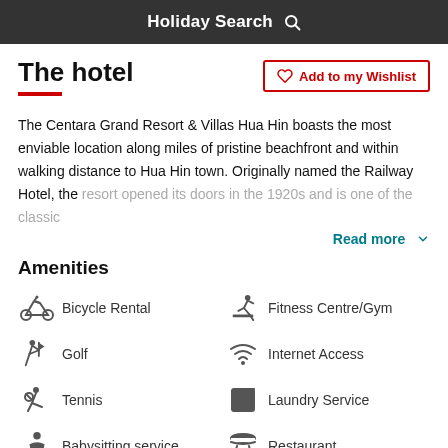Holiday Search 🔍
The hotel
Add to my Wishlist
The Centara Grand Resort & Villas Hua Hin boasts the most enviable location along miles of pristine beachfront and within walking distance to Hua Hin town. Originally named the Railway Hotel, the resort opened its doors in the 1920s and is one of the classic
Read more
Amenities
Bicycle Rental
Fitness Centre/Gym
Golf
Internet Access
Tennis
Laundry Service
Babysitting service
Restaurant
Bar
Room Service